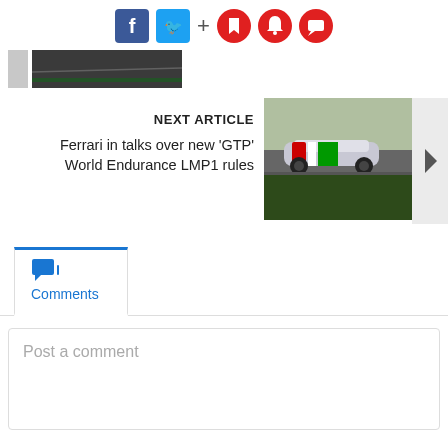[Figure (infographic): Social media sharing icons: Facebook (blue), Twitter (blue), plus sign, and three red circular icons (bookmark, bell, comment)]
[Figure (photo): Small thumbnail images of a racing car on a track]
NEXT ARTICLE
Ferrari in talks over new 'GTP' World Endurance LMP1 rules
[Figure (photo): Ferrari racing car on track at World Endurance Championship]
Comments
Post a comment